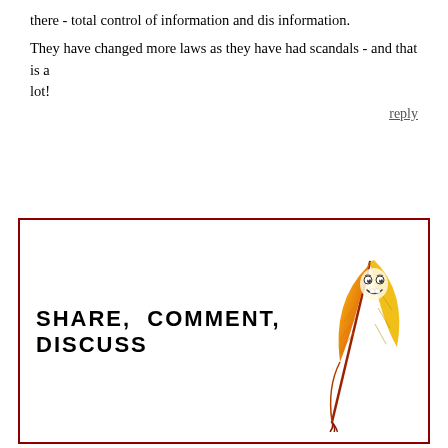there - total control of information and dis information.
They have changed more laws as they have had scandals - and that is a lot!
reply
SHARE, COMMENT, DISCUSS
Share this letter with friends and colleagues by posting it to your social media accounts or by emailing it to your contacts. Rate the letter, comment and continue the discussion.
[Figure (illustration): Cartoon animated quill feather pen with a smiling face, colored yellow-orange to red gradient]